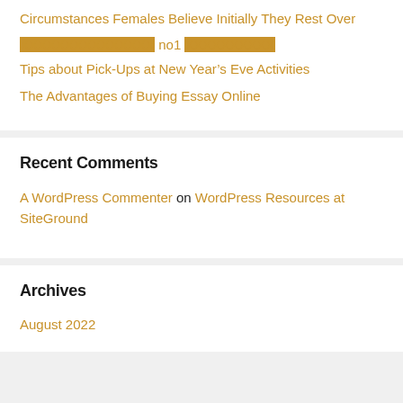Circumstances Females Believe Initially They Rest Over
XXXXXXXXXXXXXXX XXXXno1XXXXXXXXXX
Tips about Pick-Ups at New Year’s Eve Activities
The Advantages of Buying Essay Online
Recent Comments
A WordPress Commenter on WordPress Resources at SiteGround
Archives
August 2022